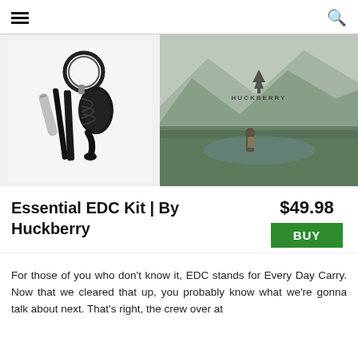≡ (menu icon) | 🔍 (search icon)
[Figure (photo): Product photo of an EDC keychain kit with paracord, fire starter, and small tools on white background]
[Figure (photo): Huckberry branded outdoor photo: person with backpack looking at mountain and forest lake landscape with HUCKBERRY logo and pine tree icon]
Essential EDC Kit | By Huckberry
$49.98
BUY
For those of you who don't know it, EDC stands for Every Day Carry. Now that we cleared that up, you probably know what we're gonna talk about next. That's right, the crew over at